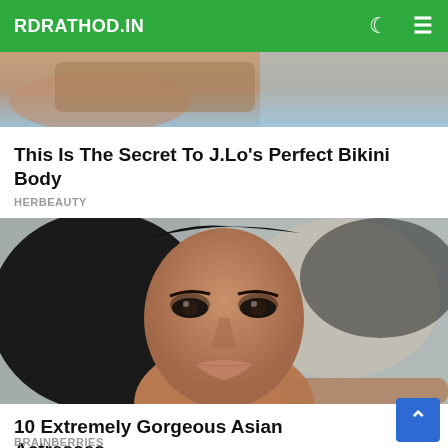RDRATHOD.IN
[Figure (photo): Cropped top portion of a photo, partial view of a woman in a bikini near a car]
This Is The Secret To J.Lo's Perfect Bikini Body
HERBEAUTY
[Figure (photo): Close-up portrait of a beautiful Asian woman with dark hair, dark eye makeup, and full lips, looking intensely at the camera]
10 Extremely Gorgeous Asian Actresses
BRAINBERRIES